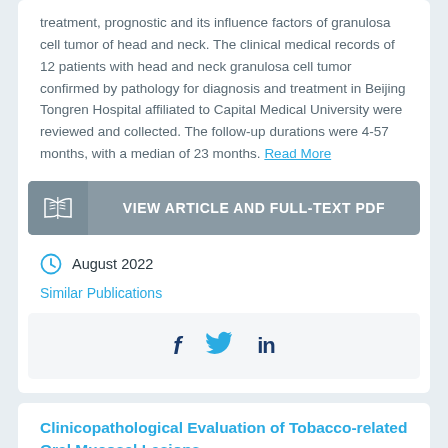treatment, prognostic and its influence factors of granulosa cell tumor of head and neck. The clinical medical records of 12 patients with head and neck granulosa cell tumor confirmed by pathology for diagnosis and treatment in Beijing Tongren Hospital affiliated to Capital Medical University were reviewed and collected. The follow-up durations were 4-57 months, with a median of 23 months. Read More
[Figure (other): Button labeled VIEW ARTICLE AND FULL-TEXT PDF with open book icon on grey background]
August 2022
Similar Publications
[Figure (other): Social share bar with Facebook, Twitter, and LinkedIn icons]
Clinicopathological Evaluation of Tobacco-related Oral Mucosal Lesions.